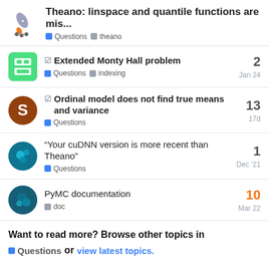Theano: linspace and quantile functions are mis... | Questions | theano
Extended Monty Hall problem | Questions | indexing | 2 replies | Jan 24
Ordinal model does not find true means and variance | Questions | 13 replies | 17d
"Your cuDNN version is more recent than Theano" | Questions | 1 reply | Dec '21
PyMC documentation | doc | 10 replies | Mar 22
Want to read more? Browse other topics in Questions or view latest topics.